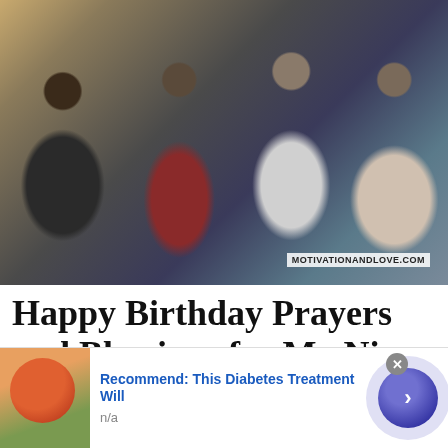[Figure (photo): Four friends celebrating a birthday party indoors around a coffee table with a birthday cake with candles, beer bottles, and orange juice glasses. Watermark reads MOTIVATIONANDLOVE.COM]
Happy Birthday Prayers and Blessings for My Niece
Birthday Wishes / By Adaralegbe Oluwafemi
[Figure (infographic): Advertisement banner: image of a bowl with orange liquid and green plants. Text: 'Recommend: This Diabetes Treatment Will' with subtext 'n/a' and a forward arrow button.]